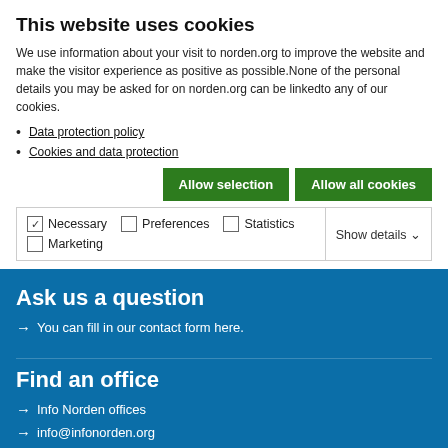This website uses cookies
We use information about your visit to norden.org to improve the website and make the visitor experience as positive as possible.None of the personal details you may be asked for on norden.org can be linkedto any of our cookies.
Data protection policy
Cookies and data protection
[Figure (screenshot): Two green buttons: 'Allow selection' and 'Allow all cookies']
[Figure (screenshot): Cookie consent checkboxes: Necessary (checked), Preferences (unchecked), Statistics (unchecked), Marketing (unchecked), with Show details dropdown]
Ask us a question
→ You can fill in our contact form here.
Find an office
→ Info Norden offices
→ info@infonorden.org